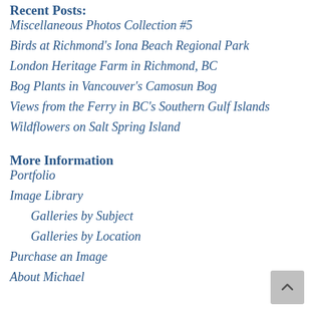Recent Posts:
Miscellaneous Photos Collection #5
Birds at Richmond's Iona Beach Regional Park
London Heritage Farm in Richmond, BC
Bog Plants in Vancouver's Camosun Bog
Views from the Ferry in BC's Southern Gulf Islands
Wildflowers on Salt Spring Island
More Information
Portfolio
Image Library
Galleries by Subject
Galleries by Location
Purchase an Image
About Michael